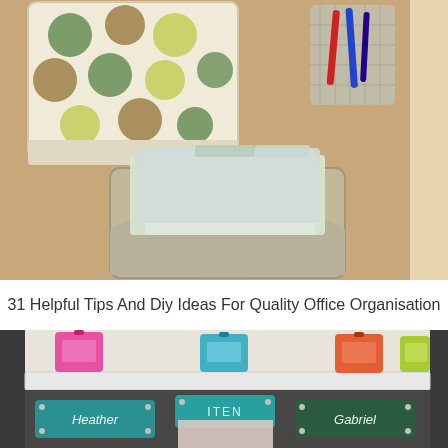[Figure (photo): Photo of wall-mounted office organizers: a fabric polka-dot pocket organizer, a mesh pen/marker holder with red and blue markers, and a metal wall-mounted document/file holder with folders inside, all mounted on a beige wall.]
31 Helpful Tips And Diy Ideas For Quality Office Organisation
[Figure (photo): Photo of a colorful shelf display with four decorative lanterns (pink, teal, orange, yellow-green) on a white floating shelf, and below it a bulletin board with labeled teal and dark green nameplates reading 'Heather', 'ITEN', and 'Gabriel', with papers and decorative items.]